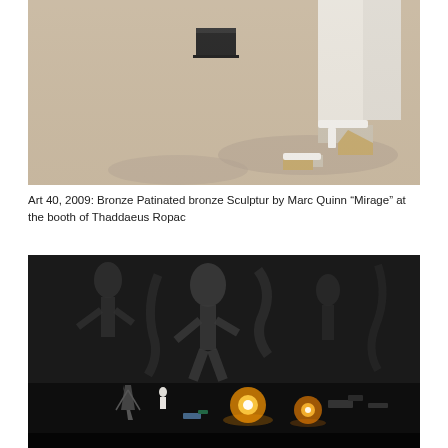[Figure (photo): Close-up photo showing the lower legs and feet of a person wearing white wedge sandals, standing on a light beige sandy surface with a small dark box in the background.]
Art 40, 2009: Bronze Patinated bronze Sculptur by Marc Quinn "Mirage" at the booth of Thaddaeus Ropac
[Figure (photo): Dark artistic installation photo showing small figurines and miniature objects on a table with dramatic shadows of abstract figures projected on a wall in the background, with bright lights illuminating the scene.]